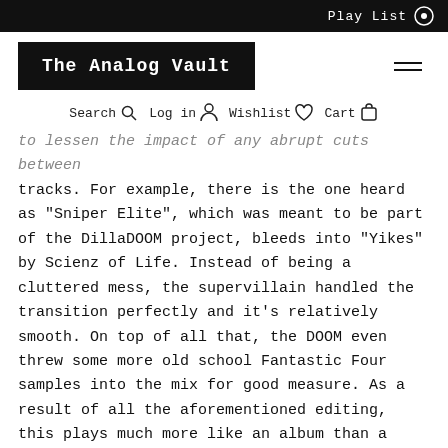Play List
The Analog Vault
Search  Log in  Wishlist  Cart
to lessen the impact of any abrupt cuts between tracks. For example, there is the one heard as "Sniper Elite", which was meant to be part of the DillaDOOM project, bleeds into "Yikes" by Scienz of Life. Instead of being a cluttered mess, the supervillain handled the transition perfectly and it's relatively smooth. On top of all that, the DOOM even threw some more old school Fantastic Four samples into the mix for good measure. As a result of all the aforementioned editing, this plays much more like an album than a compilation." – Popmatters